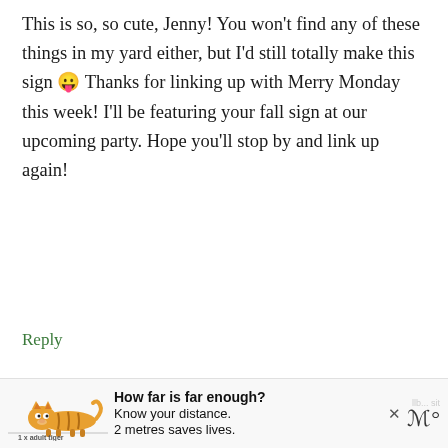This is so, so cute, Jenny! You won't find any of these things in my yard either, but I'd still totally make this sign 😛 Thanks for linking up with Merry Monday this week! I'll be featuring your fall sign at our upcoming party. Hope you'll stop by and link up again!
Reply
SHIRLEY WOOD says
SEPTEMBER 1, 2017 AT 2:01 PM
[Figure (photo): Avatar photo of Shirley Wood, a woman with brown hair smiling]
Love this especially the words you selected. I need
[Figure (infographic): Ad banner: tiger illustration with text 'How far is far enough? Know your distance. 2 metres saves lives. 1x adult tiger']